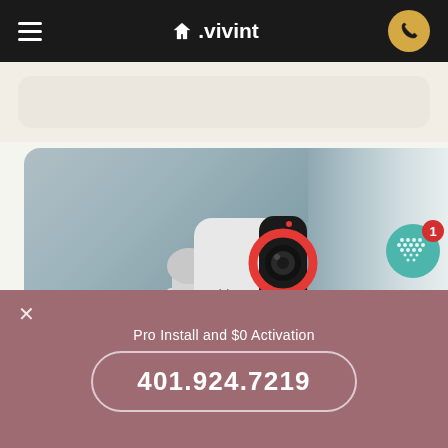≡  △.vivint  📞
[Figure (photo): Vivint outdoor security camera mounted on a wall, white bullet-style camera with black face and red ring light, mounted on grey metallic surface]
Pro Install and $0 Activation
401.924.7219